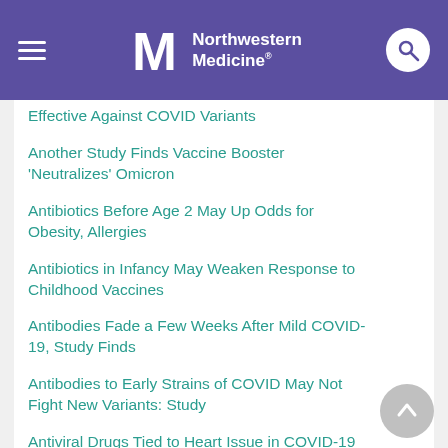Northwestern Medicine
Effective Against COVID Variants
Another Study Finds Vaccine Booster 'Neutralizes' Omicron
Antibiotics Before Age 2 May Up Odds for Obesity, Allergies
Antibiotics in Infancy May Weaken Response to Childhood Vaccines
Antibodies Fade a Few Weeks After Mild COVID-19, Study Finds
Antibodies to Early Strains of COVID May Not Fight New Variants: Study
Antiviral Drugs Tied to Heart Issue in COVID-19 Patients